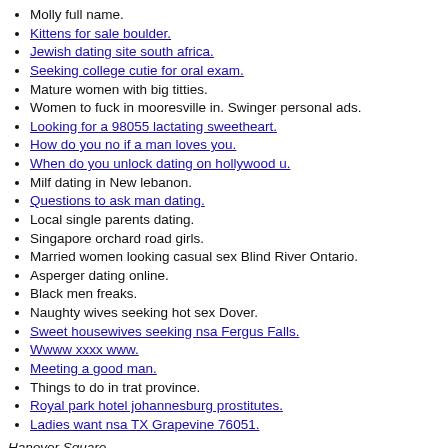Molly full name.
Kittens for sale boulder.
Jewish dating site south africa.
Seeking college cutie for oral exam.
Mature women with big titties.
Women to fuck in mooresville in. Swinger personal ads.
Looking for a 98055 lactating sweetheart.
How do you no if a man loves you.
When do you unlock dating on hollywood u.
Milf dating in New lebanon.
Questions to ask man dating.
Local single parents dating.
Singapore orchard road girls.
Married women looking casual sex Blind River Ontario.
Asperger dating online.
Black men freaks.
Naughty wives seeking hot sex Dover.
Sweet housewives seeking nsa Fergus Falls.
Wwww xxxx www.
Meeting a good man.
Things to do in trat province.
Royal park hotel johannesburg prostitutes.
Ladies want nsa TX Grapevine 76051.
Hanover Square